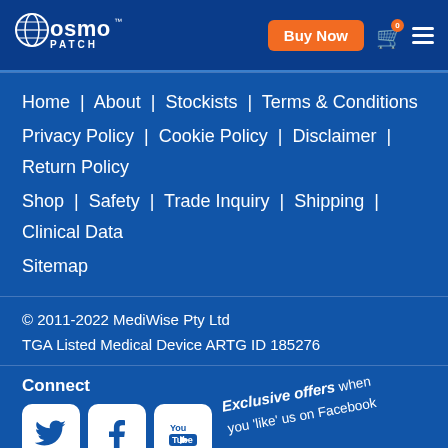Osmo Patch — Buy Now, Cart, Menu navigation
Home | About | Stockists | Terms & Conditions
Privacy Policy | Cookie Policy | Disclaimer | Return Policy
Shop | Safety | Trade Inquiry | Shipping | Clinical Data
Sitemap
© 2011-2022 MediWise Pty Ltd
TGA Listed Medical Device ARTG ID 185276
Connect
[Figure (infographic): Social media icons for Twitter, Facebook, YouTube with 'Exclusive offers when you like us on Facebook' text and curved arrow pointing to Facebook icon]
Exclusive offers when you 'like' us on Facebook